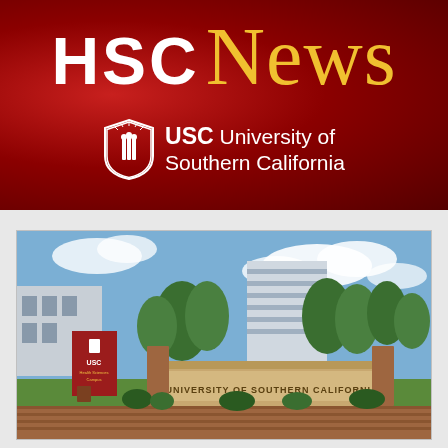[Figure (logo): HSC News header banner with USC University of Southern California logo on dark red gradient background]
[Figure (photo): Exterior photo of University of Southern California campus entrance with stone sign reading UNIVERSITY OF SOUTHERN CALIFORNIA, red USC banner, modern building and trees in background]